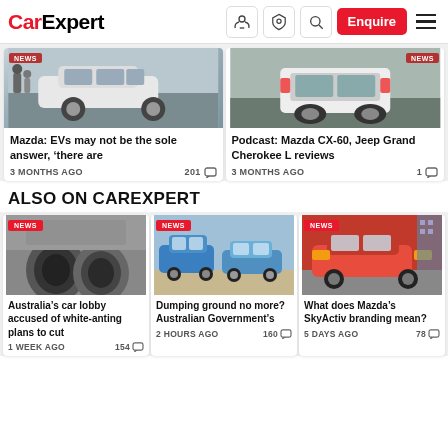CarExpert
[Figure (screenshot): CarExpert website screenshot showing navigation bar with logo, icons and Enquire button]
Mazda: EVs may not be the sole answer, 'there are
3 MONTHS AGO  201
Podcast: Mazda CX-60, Jeep Grand Cherokee L reviews
3 MONTHS AGO  1
ALSO ON CAREXPERT
Australia's car lobby accused of white-anting plans to cut
1 WEEK AGO  154
Dumping ground no more? Australian Government's
2 HOURS AGO  160
What does Mazda's SkyActiv branding mean?
5 DAYS AGO  78